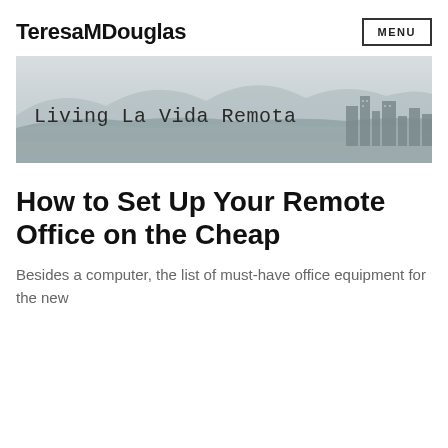TeresaMDouglas
[Figure (illustration): Banner image with misty mountains and city skyline in the background. Overlaid text reads 'Living La Vida Remota' in a monospace/typewriter font.]
How to Set Up Your Remote Office on the Cheap
Besides a computer, the list of must-have office equipment for the new